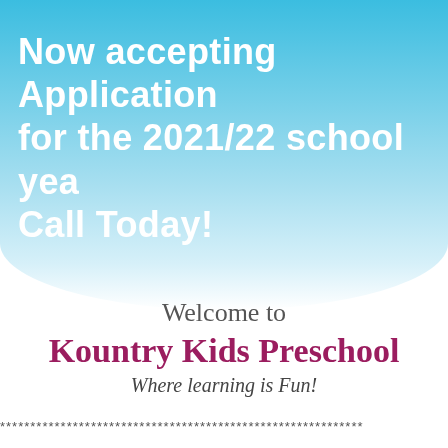Now accepting Applications for the 2021/22 school year. Call Today!
Welcome to
Kountry Kids Preschool
Where learning is Fun!
************************************************************